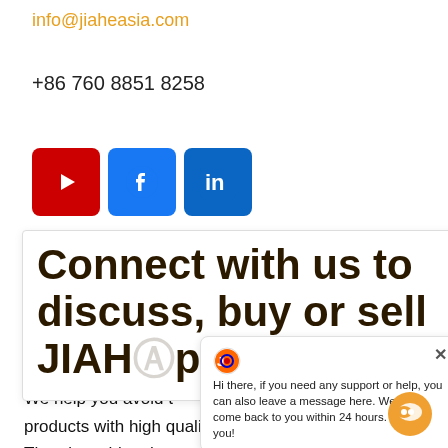info@jiaheasia.com
+86 760 8851 8258
[Figure (infographic): Three social media icon buttons: YouTube (red), Facebook (blue), LinkedIn (blue)]
Connect with us to discuss, buy or sell JIAH products
Hi there, if you need any support or help, you can also leave a message here. We will come back to you within 24 hours. Thank you!
We help you avoid t... products with high quality on-time and on-bud...
There's nothing that cannot be resolved by cli...